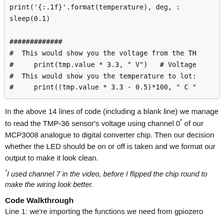print('{:.1f}'.format(temperature), deg, :
    sleep(0.1)

#############
#  This would show you the voltage from the TH
#     print(tmp.value * 3.3, " V")   # Voltage
#  This would show you the temperature to lot:
#     print((tmp.value * 3.3 - 0.5)*100, " C "
In the above 14 lines of code (including a blank line) we manage to read the TMP-36 sensor's voltage using channel 0* of our MCP3008 analogue to digital converter chip. Then our decision whether the LED should be on or off is taken and we format our output to make it look clean.
*I used channel 7 in the video, before I flipped the chip round to make the wiring look better.
Code Walkthrough
Line 1: we're importing the functions we need from gpiozero